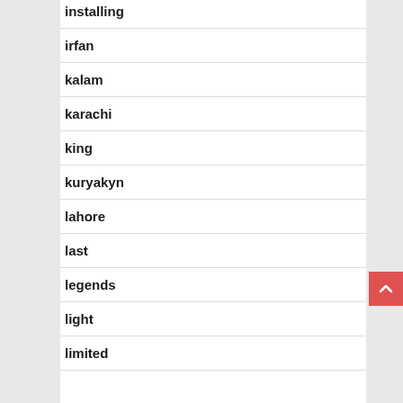installing
irfan
kalam
karachi
king
kuryakyn
lahore
last
legends
light
limited